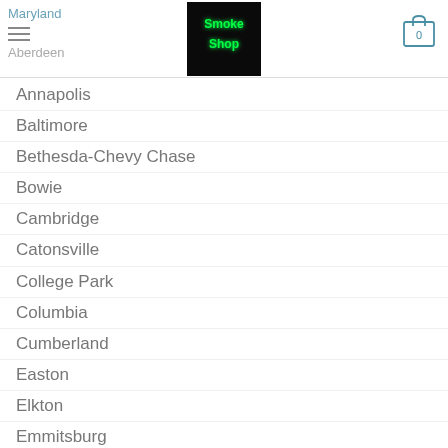Maryland | Smoke Shop | Cart 0
Aberdeen
Annapolis
Baltimore
Bethesda-Chevy Chase
Bowie
Cambridge
Catonsville
College Park
Columbia
Cumberland
Easton
Elkton
Emmitsburg
Frederick
Greenbelt
Hagerstown
Hyattsville